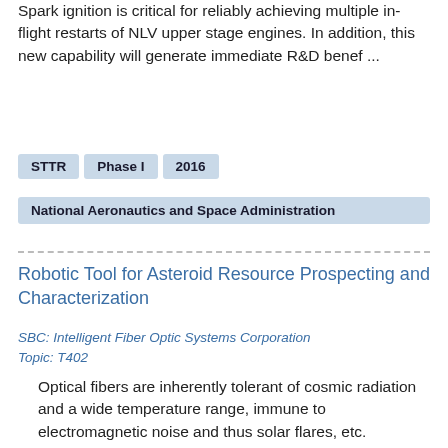Spark ignition is critical for reliably achieving multiple in-flight restarts of NLV upper stage engines. In addition, this new capability will generate immediate R&D benef ...
STTR
Phase I
2016
National Aeronautics and Space Administration
Robotic Tool for Asteroid Resource Prospecting and Characterization
SBC: Intelligent Fiber Optic Systems Corporation
Topic: T402
Optical fibers are inherently tolerant of cosmic radiation and a wide temperature range, immune to electromagnetic noise and thus solar flares, etc. Embedded fiber sensors can be highly resistant to shock and vibration, hence their usage in the oil drilling industry. IFOS will work with Stanford?s Center for Design Research to develop a robotic prospecting tool with fiber-optical and location sensing...